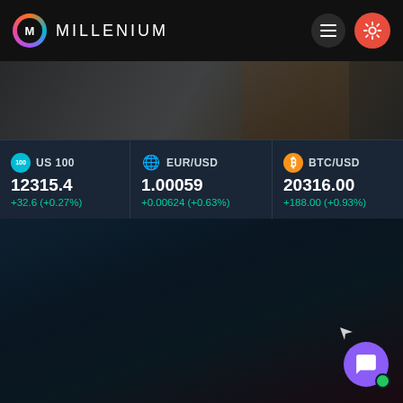[Figure (screenshot): Millenium trading platform header with logo and navigation icons (hamburger menu and sun/settings button)]
[Figure (photo): Dark hero image showing a person in a suit, partially visible]
| Asset | Price | Change |
| --- | --- | --- |
| US 100 | 12315.4 | +32.6 (+0.27%) |
| EUR/USD | 1.00059 | +0.00624 (+0.63%) |
| BTC/USD | 20316.00 | +188.00 (+0.93%) |
| (partial) | 163... | +48.... |